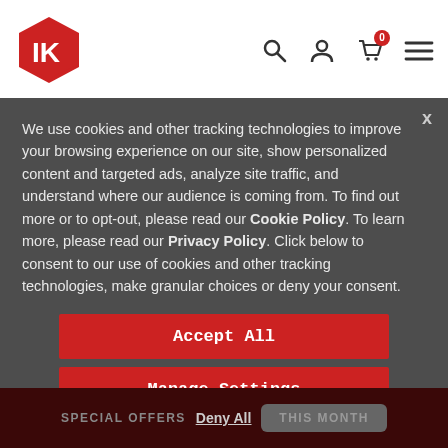IK Multimedia header with logo, search, account, cart (0), and menu icons
iRig Pads
IP-IRIG-PADS-IN
We use cookies and other tracking technologies to improve your browsing experience on our site, show personalized content and targeted ads, analyze site traffic, and understand where our audience is coming from. To find out more or to opt-out, please read our Cookie Policy. To learn more, please read our Privacy Policy. Click below to consent to our use of cookies and other tracking technologies, make granular choices or deny your consent.
Accept All
Manage Settings
SPECIAL OFFERS  Deny All  THIS MONTH